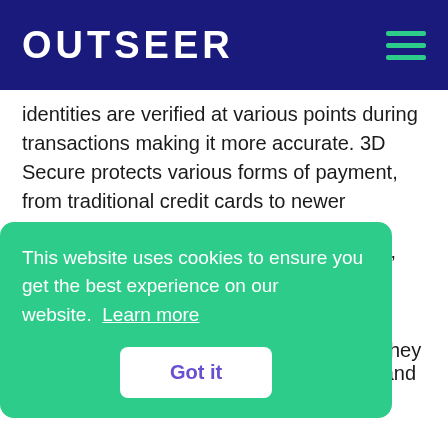OUTSEER
identities are verified at various points during transactions making it more accurate. 3D Secure protects various forms of payment, from traditional credit cards to newer methods like CNP and BNPL.
Outseer Fraud Manager monitors digital transactions to detect fraud, assess users’ risk factors, and deliver fraud detection trends. In addition, Fraud Manager warns users of potential fraud situations before they happen.
[partial text] d and
phishing attacks, malware, rogue mobile apps,
[partial] om
[Figure (screenshot): Cookie consent banner with green background reading: 'This website uses cookies to ensure you get the best experience on our website. Learn more' with a 'Got it' button]